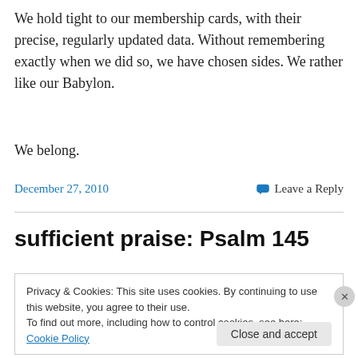We hold tight to our membership cards, with their precise, regularly updated data. Without remembering exactly when we did so, we have chosen sides. We rather like our Babylon.
We belong.
December 27, 2010
Leave a Reply
sufficient praise: Psalm 145
Privacy & Cookies: This site uses cookies. By continuing to use this website, you agree to their use.
To find out more, including how to control cookies, see here: Cookie Policy